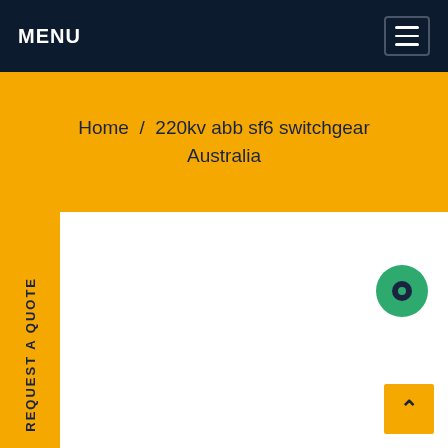MENU
Home / 220kv abb sf6 switchgear Australia
REQUEST A QUOTE
[Figure (other): Green circle chat/contact button in the content area]
[Figure (other): Yellow back-to-top button with upward chevron arrow]